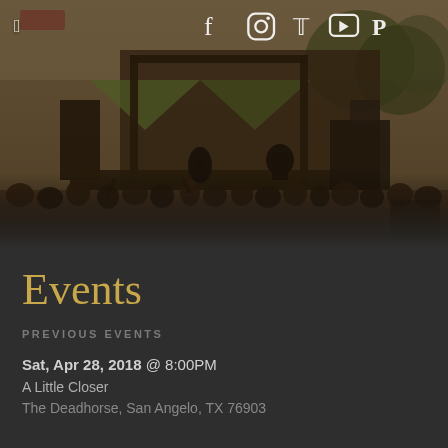[Figure (photo): Outdoor concert scene with a crowd of people, a stage with performers, and tents in the background. Image has a dark sepia/brown tint overlay.]
f  [Instagram]  [Twitter]  [YouTube]  [Pandora]
Events
PREVIOUS EVENTS
Sat, Apr 28, 2018 @ 8:00PM
A Little Closer
The Deadhorse, San Angelo, TX 76903